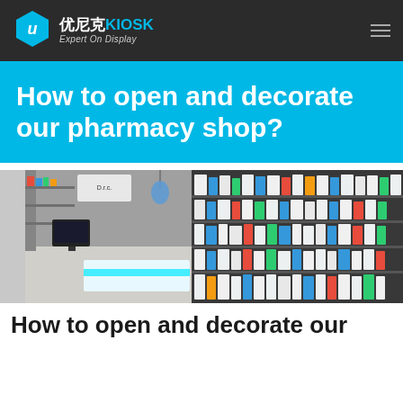[Figure (logo): 优尼克KIOSK logo with hexagon icon and tagline 'Expert On Display' on dark header bar]
How to open and decorate our pharmacy shop?
[Figure (photo): Interior of a modern pharmacy shop with shelves stocked with products, a glowing blue counter, and pendant lights]
How to open and decorate our